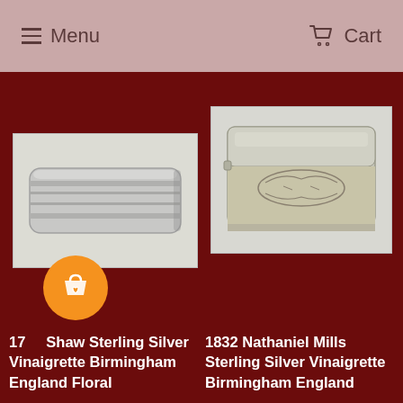Menu | Cart
[Figure (photo): Silver vinaigrette box photographed from the side, showing flat rectangular form with multiple horizontal layers/seams, on light background]
[Figure (photo): 1832 Nathaniel Mills sterling silver vinaigrette box, rectangular with engraved floral decoration on lower portion, photographed at slight angle on light background]
17... Shaw Sterling Silver Vinaigrette Birmingham England Floral
1832 Nathaniel Mills Sterling Silver Vinaigrette Birmingham England